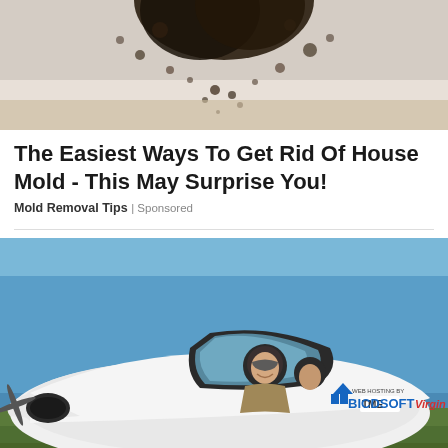[Figure (photo): Close-up photo of black mold growing on a white surface, top portion cropped]
The Easiest Ways To Get Rid Of House Mold - This May Surprise You!
Mold Removal Tips | Sponsored
[Figure (photo): Person in flight suit and helmet sitting in cockpit of small white airplane with logos including BICDSOFT, Virgin, and TME on the fuselage, parked on grass airfield under blue sky]